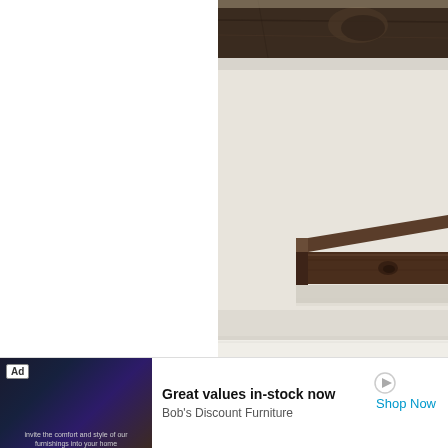[Figure (photo): A dark walnut floating wood shelf mounted on a cream/off-white wall. The shelf appears to be a thick rectangular beam of dark stained wood, shown from a slight angle. At the top of the image, another piece of similar dark wood artwork is partially visible. The bottom of the image shows white baseboard trim.]
[Figure (other): Advertisement banner at the bottom. Shows 'Ad' label, a small bedroom furniture image on the left, text reading 'Great values in-stock now' and 'Bob's Discount Furniture' with a 'Shop Now' link in blue. There is also a play/arrow icon and an X close button.]